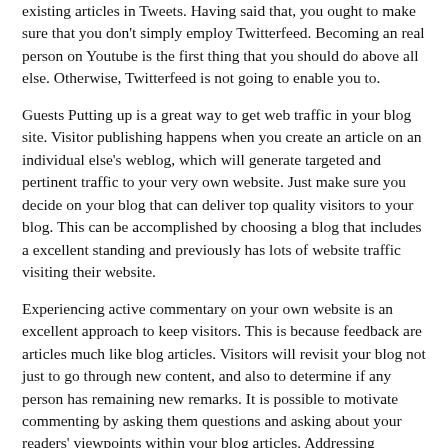existing articles in Tweets. Having said that, you ought to make sure that you don't simply employ Twitterfeed. Becoming an real person on Youtube is the first thing that you should do above all else. Otherwise, Twitterfeed is not going to enable you to.
Guests Putting up is a great way to get web traffic in your blog site. Visitor publishing happens when you create an article on an individual else's weblog, which will generate targeted and pertinent traffic to your very own website. Just make sure you decide on your blog that can deliver top quality visitors to your blog. This can be accomplished by choosing a blog that includes a excellent standing and previously has lots of website traffic visiting their website.
Experiencing active commentary on your own website is an excellent approach to keep visitors. This is because feedback are articles much like blog articles. Visitors will revisit your blog not just to go through new content, and also to determine if any person has remaining new remarks. It is possible to motivate commenting by asking them questions and asking about your readers' viewpoints within your blog articles. Addressing responses also motivates posting comments.
Be prepared to get some profitable days plus some days and nights that happen to be problems. You will recognize that some blog